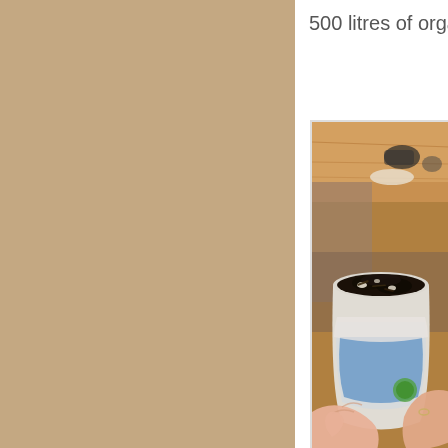500 litres of organic compost each year.)
[Figure (photo): Hands holding a repurposed yogurt cup filled with dark organic compost/worm castings, with a wooden table and various items in the blurred background.]